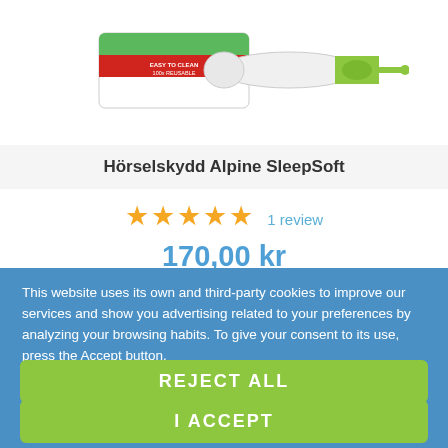[Figure (photo): Product image of Alpine SleepSoft earplugs with packaging — white cylindrical earplugs with green tip and red/white box labeled 'EASY TO CLEAN, 100x REUSABLE']
Hörselskydd Alpine SleepSoft
★★★★★  1 review
170,00 kr
DETALJER
This website uses its own and third-party cookies to improve our services and show you advertising related to your preferences by analyzing your browsing habits. To give your consent to its use, press the Accept button.
More information
Customize cookies
REJECT ALL
I ACCEPT